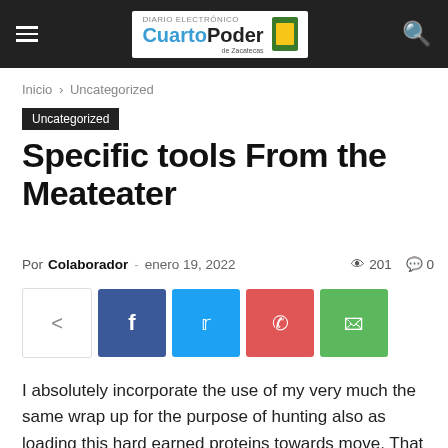CuartoPoder — navigation header with logo, hamburger menu, and search icon
Inicio › Uncategorized
Uncategorized
Specific tools From the Meateater
Por Colaborador - enero 19, 2022   201   0
[Figure (other): Social sharing buttons: share, Facebook, Twitter, Pinterest, WhatsApp]
I absolutely incorporate the use of my very much the same wrap up for the purpose of hunting also as loading this hard earned proteins towards move. That informative post i dress yourself in devices in my experience within the unique pack